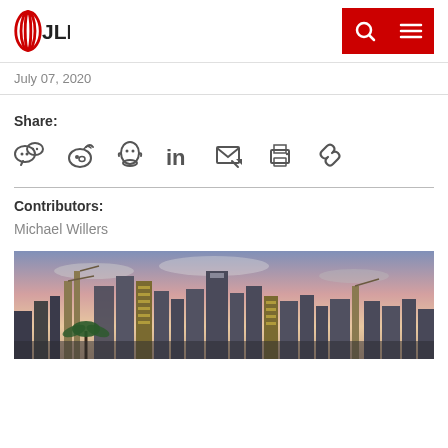JLL
July 07, 2020
Share:
Contributors:
Michael Willers
[Figure (photo): City skyline at dusk with construction cranes and tall buildings, palm trees in foreground]